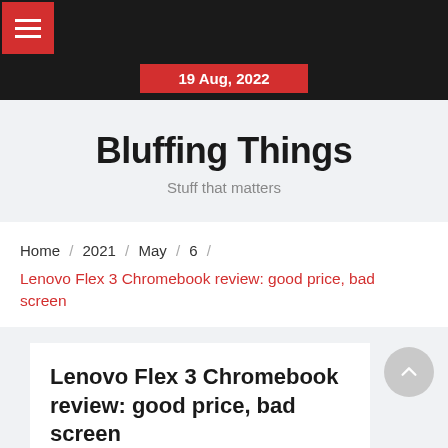Navigation bar with hamburger menu
19 Aug, 2022
Bluffing Things
Stuff that matters
Home / 2021 / May / 6 / Lenovo Flex 3 Chromebook review: good price, bad screen
Lenovo Flex 3 Chromebook review: good price, bad screen
May 6, 2021